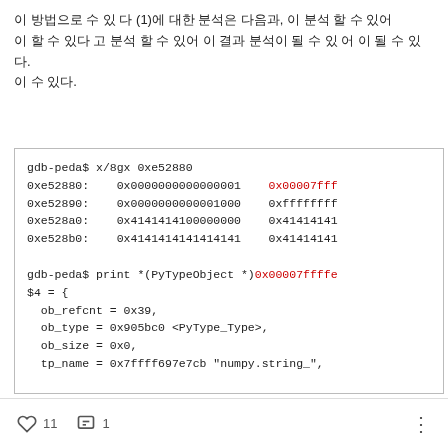이 방법으로 수 있 다 (1)에 대한 분석은 다음과, 이 분석 할 수 있어 이 할 수 있다 고 분석 할 수 있어 이 결과 분석이 될 수 있 어 이 될 수 있다.
[Figure (screenshot): GDB PEDA debugger output showing memory dump at 0xe52880 with addresses, hex values, and a print statement for PyTypeObject showing ob_refcnt, ob_type, ob_size, and tp_name fields.]
♡ 11  💬 1  ⋮